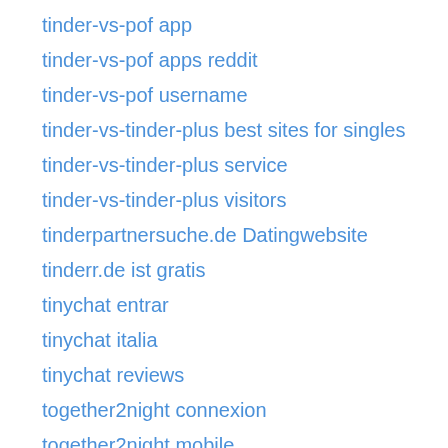tinder-vs-pof app
tinder-vs-pof apps reddit
tinder-vs-pof username
tinder-vs-tinder-plus best sites for singles
tinder-vs-tinder-plus service
tinder-vs-tinder-plus visitors
tinderpartnersuche.de Datingwebsite
tinderr.de ist gratis
tinychat entrar
tinychat italia
tinychat reviews
together2night connexion
together2night mobile
Together2Night site
together2night-inceleme visitors